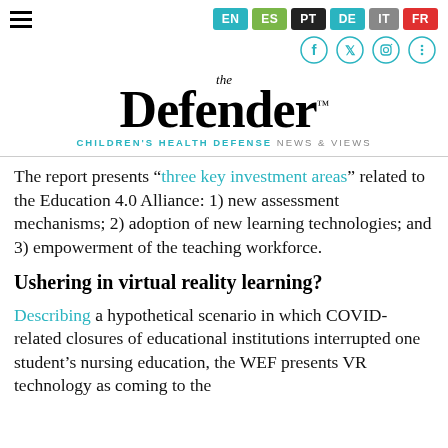EN ES PT DE IT FR — The Defender: CHILDREN'S HEALTH DEFENSE NEWS & VIEWS
The report presents “three key investment areas” related to the Education 4.0 Alliance: 1) new assessment mechanisms; 2) adoption of new learning technologies; and 3) empowerment of the teaching workforce.
Ushering in virtual reality learning?
Describing a hypothetical scenario in which COVID-related closures of educational institutions interrupted one student’s nursing education, the WEF presents VR technology as coming to the